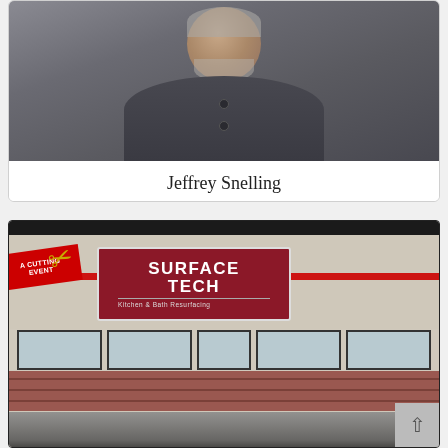[Figure (photo): Headshot photo of Jeffrey Snelling, a man wearing a dark grey sweater, photographed against a grey background]
Jeffrey Snelling
plumThumb Website Design & Hosting, President
[Figure (photo): Ribbon cutting event photo showing Surface Tech Kitchen & Bath Resurfacing storefront with a group of people gathered outside. A red ribbon and gold scissors are visible. A red 'Cutting Event' banner is shown.]